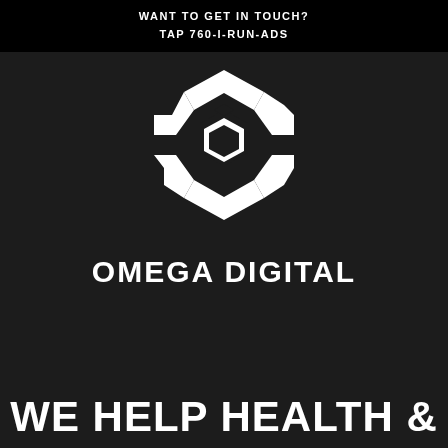WANT TO GET IN TOUCH?
TAP 760-I-RUN-ADS
[Figure (logo): Omega Digital logo — white hexagonal chain-link style icon]
OMEGA DIGITAL
WE HELP HEALTH &